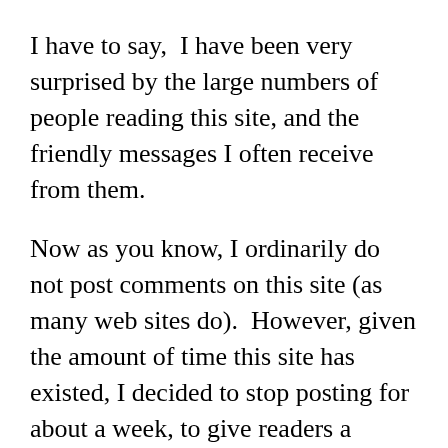I have to say,  I have been very surprised by the large numbers of people reading this site, and the friendly messages I often receive from them.
Now as you know, I ordinarily do not post comments on this site (as many web sites do).  However, given the amount of time this site has existed, I decided to stop posting for about a week, to give readers a chance to comment publicly if they wish.  What kind of comments?  Well, anything you want to say.  If you like the blog, and why — if you don't like the blog — if you